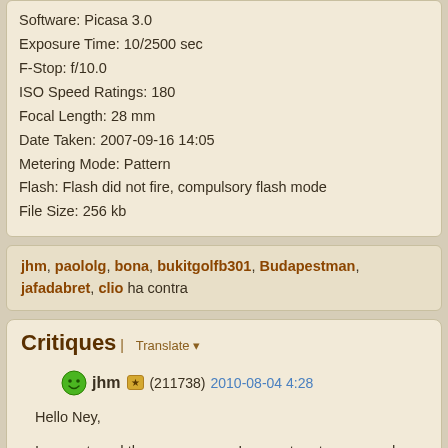Software: Picasa 3.0
Exposure Time: 10/2500 sec
F-Stop: f/10.0
ISO Speed Ratings: 180
Focal Length: 28 mm
Date Taken: 2007-09-16 14:05
Metering Mode: Pattern
Flash: Flash did not fire, compulsory flash mode
File Size: 256 kb
jhm, paololg, bona, bukitgolfb301, Budapestman, jafadabret, clio ha contra
Critiques | Translate
jhm (211738) 2010-08-04 4:28
Hello Ney,

I can not read the newspapers, I can not portugese read.
Nice daily life picture with the woman in the kiosk.
Color and sharpness are nice for look at.
Nice captured and composed, TFS.

Have a nice day,
John.